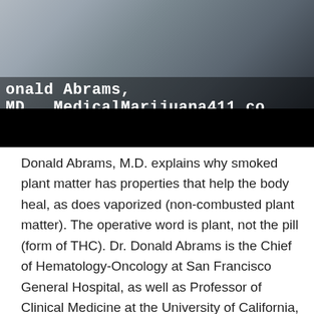[Figure (screenshot): Video screenshot of Donald Abrams, MD being interviewed. Overlay text reads 'onald Abrams, MD  MedicalMarijuana411.co'. The bottom portion of the video frame is a black bar.]
Donald Abrams, M.D. explains why smoked plant matter has properties that help the body heal, as does vaporized (non-combusted plant matter). The operative word is plant, not the pill (form of THC). Dr. Donald Abrams is the Chief of Hematology-Oncology at San Francisco General Hospital, as well as Professor of Clinical Medicine at the University of California, San Francisco. Transcript to follow: After we demonstrated that cannabis had a medicinal use. We knew people were against smoking a medicine. My colleagues say Donald, nobody smokes fox glove we have digitalis you know, using a whole plant as medicine is sort